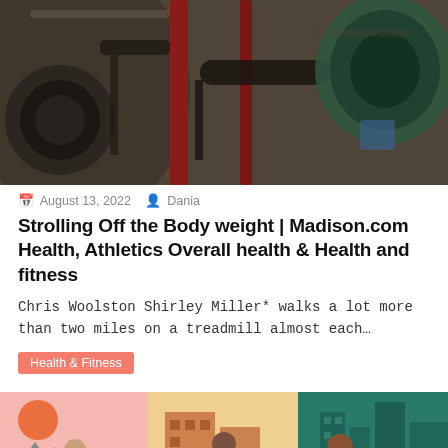[Figure (photo): Close-up photo of gym weight plates and equipment, dark tones with red rack visible]
August 13, 2022  Dania
Strolling Off the Body weight | Madison.com Health, Athletics Overall health & Health and fitness
Chris Woolston Shirley Miller* walks a lot more than two miles on a treadmill almost each…
Health & Fitness
[Figure (illustration): Colorful illustration showing three panels: a woman meditating in yoga pose (pink background with sun), a masked doctor consulting a patient with a phone (yellow/orange background), and a man running (teal/green background with cityscape)]